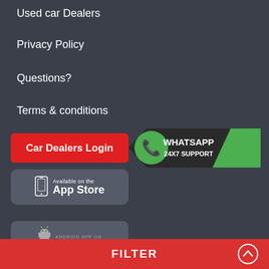Used car Dealers
Privacy Policy
Questions?
Terms & conditions
[Figure (screenshot): Red button with white text: Car Dealers Login]
[Figure (logo): WhatsApp 24X7 Support banner with WhatsApp icon and green/dark background]
[Figure (screenshot): Available on the App Store button with phone icon]
[Figure (screenshot): Android App On button (partially visible)]
FILTER
FILTER